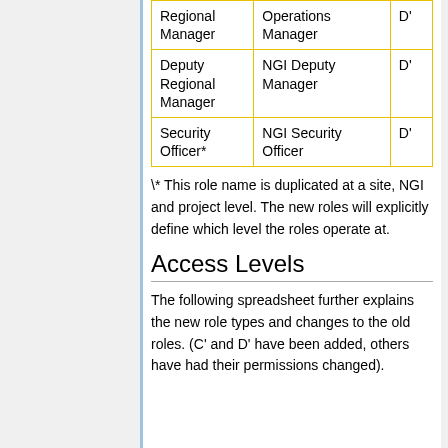| Regional Manager | Operations Manager | D' |
| Deputy Regional Manager | NGI Deputy Manager | D' |
| Security Officer* | NGI Security Officer | D' |
\* This role name is duplicated at a site, NGI and project level. The new roles will explicitly define which level the roles operate at.
Access Levels
The following spreadsheet further explains the new role types and changes to the old roles. (C' and D' have been added, others have had their permissions changed).